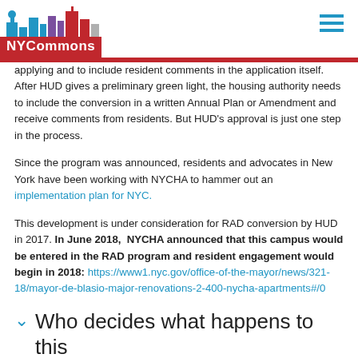NYCommons
applying and to include resident comments in the application itself. After HUD gives a preliminary green light, the housing authority needs to include the conversion in a written Annual Plan or Amendment and receive comments from residents. But HUD's approval is just one step in the process.
Since the program was announced, residents and advocates in New York have been working with NYCHA to hammer out an implementation plan for NYC.
This development is under consideration for RAD conversion by HUD in 2017. In June 2018, NYCHA announced that this campus would be entered in the RAD program and resident engagement would begin in 2018: https://www1.nyc.gov/office-of-the-mayor/news/321-18/mayor-de-blasio-major-renovations-2-400-nycha-apartments#/0
Who decides what happens to this property?
Official Owner